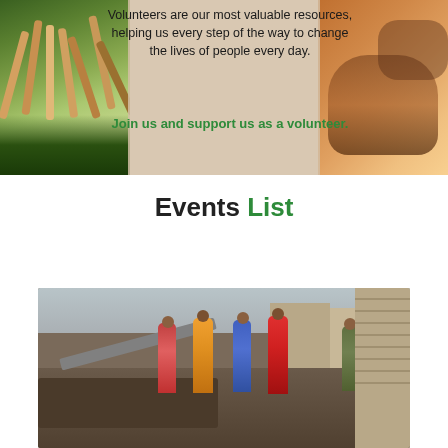[Figure (photo): Split banner image: left side shows diverse hands together on green grass, right side shows clasped hands with warm orange background. Center text overlay on beige background.]
Volunteers are our most valuable resources, helping us every step of the way to change the lives of people every day.
Join us and support us as a volunteer.
Events List
[Figure (photo): Photo of women in colorful traditional dress standing amid rubble and debris in a damaged area, appearing to be a disaster or poverty scene.]